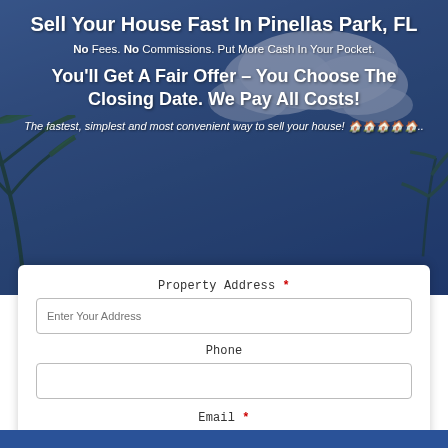Sell Your House Fast In Pinellas Park, FL
No Fees. No Commissions. Put More Cash In Your Pocket.
You'll Get A Fair Offer – You Choose The Closing Date. We Pay All Costs!
The fastest, simplest and most convenient way to sell your house! 🏠🏠🏠🏠🏠..
Property Address *
Enter Your Address
Phone
Email *